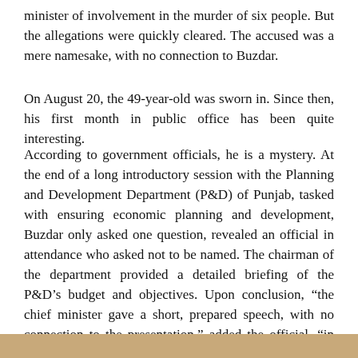minister of involvement in the murder of six people. But the allegations were quickly cleared. The accused was a mere namesake, with no connection to Buzdar.
On August 20, the 49-year-old was sworn in. Since then, his first month in public office has been quite interesting.
According to government officials, he is a mystery. At the end of a long introductory session with the Planning and Development Department (P&D) of Punjab, tasked with ensuring economic planning and development, Buzdar only asked one question, revealed an official in attendance who asked not to be named. The chairman of the department provided a detailed briefing of the P&D’s budget and objectives. Upon conclusion, “the chief minister gave a short, prepared speech, with no connection to the presentation,” added the official, “in which he also mentioned how he himself was surprised at his selection for the slot of the chief minister.” However, he did promise to support the bureaucracy and asked for their guidance.
[Figure (photo): Partial image strip at the bottom of the page, showing what appears to be a brownish/golden colored photograph.]